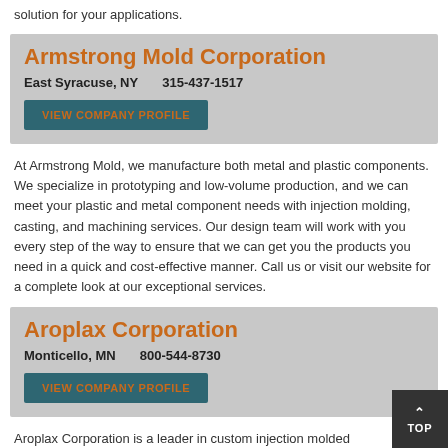solution for your applications.
Armstrong Mold Corporation
East Syracuse, NY    315-437-1517
VIEW COMPANY PROFILE
At Armstrong Mold, we manufacture both metal and plastic components. We specialize in prototyping and low-volume production, and we can meet your plastic and metal component needs with injection molding, casting, and machining services. Our design team will work with you every step of the way to ensure that we can get you the products you need in a quick and cost-effective manner. Call us or visit our website for a complete look at our exceptional services.
Aroplax Corporation
Monticello, MN    800-544-8730
VIEW COMPANY PROFILE
Aroplax Corporation is a leader in custom injection molded